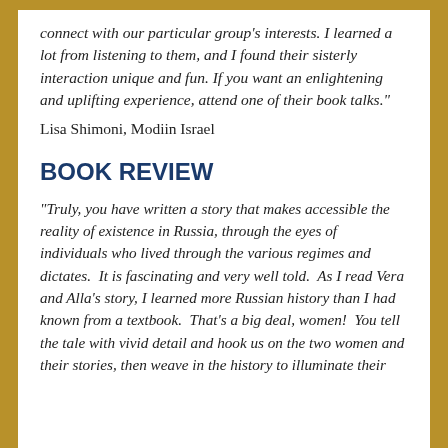connect with our particular group's interests. I learned a lot from listening to them, and I found their sisterly interaction unique and fun. If you want an enlightening and uplifting experience, attend one of their book talks."
Lisa Shimoni, Modiin Israel
BOOK REVIEW
"Truly, you have written a story that makes accessible the reality of existence in Russia, through the eyes of individuals who lived through the various regimes and dictates.  It is fascinating and very well told.  As I read Vera and Alla's story, I learned more Russian history than I had known from a textbook.  That's a big deal, women!  You tell the tale with vivid detail and hook us on the two women and their stories, then weave in the history to illuminate their